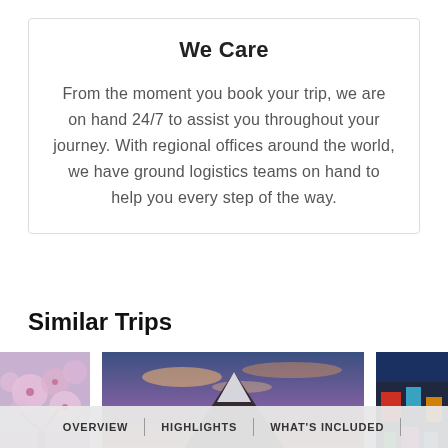We Care
From the moment you book your trip, we are on hand 24/7 to assist you throughout your journey. With regional offices around the world, we have ground logistics teams on hand to help you every step of the way.
Similar Trips
[Figure (photo): Three travel destination photos in a horizontal strip: cherry blossoms (left, partial), Mount Fuji at sunset reflected in lake (center), colorful city street scene (right, partial)]
OVERVIEW | HIGHLIGHTS | WHAT'S INCLUDED